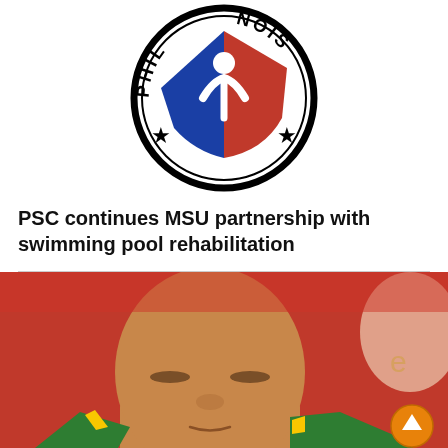[Figure (logo): Philippine Sports Commission (PSC) circular seal logo with blue and red shield, white figure with raised arms, stars, and text PHIL... NOIS... around the circle]
PSC continues MSU partnership with swimming pool rehabilitation
[Figure (photo): Close-up photo of a young man wearing a green and yellow sports jacket, eyes closed or looking down, with a red background and partial logo/mascot visible]